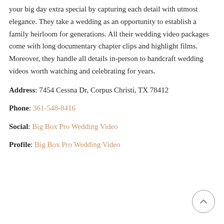your big day extra special by capturing each detail with utmost elegance. They take a wedding as an opportunity to establish a family heirloom for generations. All their wedding video packages come with long documentary chapter clips and highlight films. Moreover, they handle all details in-person to handcraft wedding videos worth watching and celebrating for years.
Address: 7454 Cessna Dr, Corpus Christi, TX 78412
Phone: 361-548-8416
Social: Big Box Pro Wedding Video
Profile: Big Box Pro Wedding Video